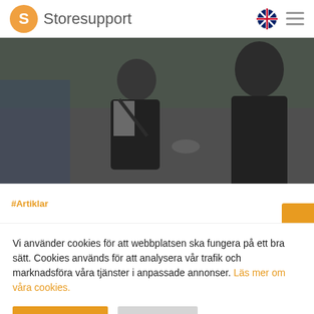Storesupport
[Figure (photo): Two people in a grocery store, one holding a bag and the other handing over a product, shelves with produce in background. Image has a dark overlay.]
#Artiklar
Vi använder cookies för att webbplatsen ska fungera på ett bra sätt. Cookies används för att analysera vår trafik och marknadsföra våra tjänster i anpassade annonser. Läs mer om våra cookies.
GODKÄNN
AVVISA